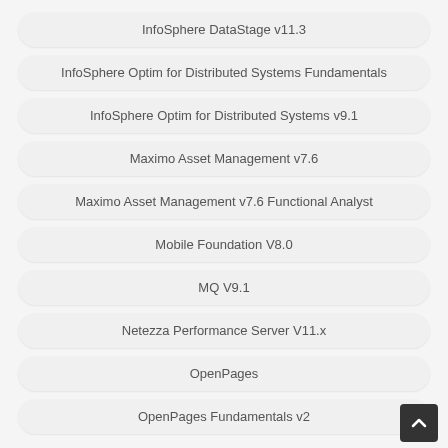InfoSphere DataStage v11.3
InfoSphere Optim for Distributed Systems Fundamentals
InfoSphere Optim for Distributed Systems v9.1
Maximo Asset Management v7.6
Maximo Asset Management v7.6 Functional Analyst
Mobile Foundation V8.0
MQ V9.1
Netezza Performance Server V11.x
OpenPages
OpenPages Fundamentals v2